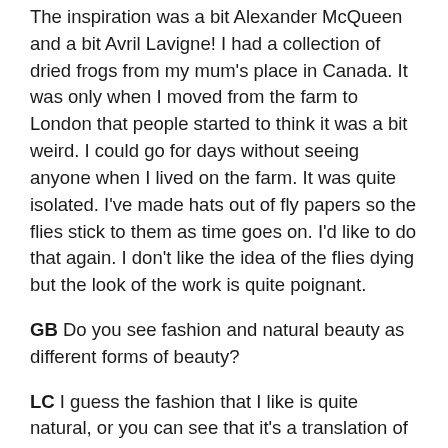The inspiration was a bit Alexander McQueen and a bit Avril Lavigne! I had a collection of dried frogs from my mum's place in Canada. It was only when I moved from the farm to London that people started to think it was a bit weird. I could go for days without seeing anyone when I lived on the farm. It was quite isolated. I've made hats out of fly papers so the flies stick to them as time goes on. I'd like to do that again. I don't like the idea of the flies dying but the look of the work is quite poignant.
GB Do you see fashion and natural beauty as different forms of beauty?
LC I guess the fashion that I like is quite natural, or you can see that it's a translation of something that comes from nature. We're surrounded by good simple design now, I like to see things that have a bit more to them.